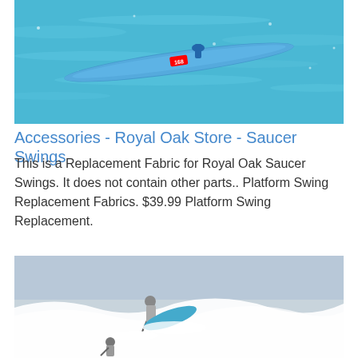[Figure (photo): Aerial view of a person on a blue paddleboard/surfboard on turquoise water, racing with competition number visible]
Accessories - Royal Oak Store - Saucer Swings
This is a Replacement Fabric for Royal Oak Saucer Swings. It does not contain other parts.. Platform Swing Replacement Fabrics. $39.99 Platform Swing Replacement.
[Figure (photo): Two surfers on waves, one standing on a paddleboard with a blue board visible, white surf spray around them]